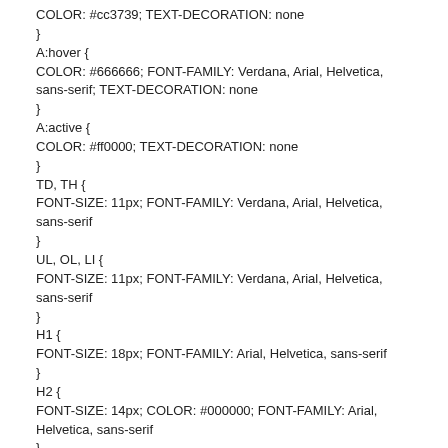COLOR: #cc3739; TEXT-DECORATION: none
}
A:hover {
COLOR: #666666; FONT-FAMILY: Verdana, Arial, Helvetica, sans-serif; TEXT-DECORATION: none
}
A:active {
COLOR: #ff0000; TEXT-DECORATION: none
}
TD, TH {
FONT-SIZE: 11px; FONT-FAMILY: Verdana, Arial, Helvetica, sans-serif
}
UL, OL, LI {
FONT-SIZE: 11px; FONT-FAMILY: Verdana, Arial, Helvetica, sans-serif
}
H1 {
FONT-SIZE: 18px; FONT-FAMILY: Arial, Helvetica, sans-serif
}
H2 {
FONT-SIZE: 14px; COLOR: #000000; FONT-FAMILY: Arial, Helvetica, sans-serif
}
H3 {